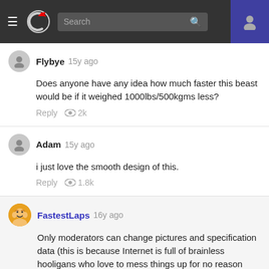Navigation bar with hamburger menu, logo, search box, and user icon
Flybye  15y ago
Does anyone have any idea how much faster this beast would be if it weighed 1000lbs/500kgms less?
Reply  👁 2k
Adam  15y ago
i just love the smooth design of this.
Reply  👁 1.8k
FastestLaps  16y ago
Only moderators can change pictures and specification data (this is because Internet is full of brainless hooligans who love to mess things up for no reason what so ever). But if you want the picture to be changed you can paste link to your suggested picture or send it as an attachment to my e-mail (info@fastestlaps.com) and I will change it asap.
Reply  👁 1.7k
CLOSE